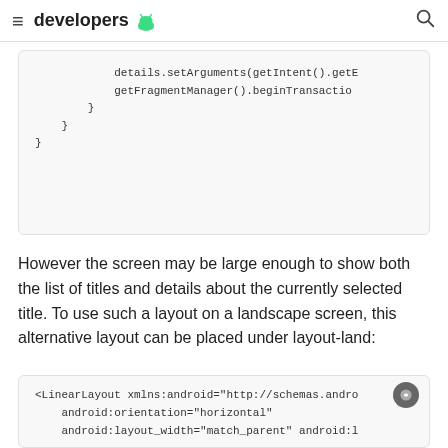developers
details.setArguments(getIntent().getE
    getFragmentManager().beginTransaction
        }
    }
}
However the screen may be large enough to show both the list of titles and details about the currently selected title. To use such a layout on a landscape screen, this alternative layout can be placed under layout-land:
<LinearLayout xmlns:android="http://schemas.andro
    android:orientation="horizontal"
    android:layout_width="match_parent" android:l

    <fragment class="com.example.android.apis.app